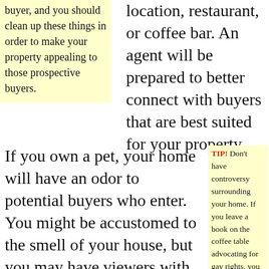buyer, and you should clean up these things in order to make your property appealing to those prospective buyers.
location, restaurant, or coffee bar. An agent will be prepared to better connect with buyers that are best suited for your property.
If you own a pet, your home will have an odor to potential buyers who enter. You might be accustomed to the smell of your house, but you may have viewers with a keen nose that can detect a pet. In order to appeal to more buyers, keep your home as
TIP! Don't have controversy surrounding your home. If you leave a book on the coffee table advocating for gay rights, you have the potential to offend a conservative buyer.